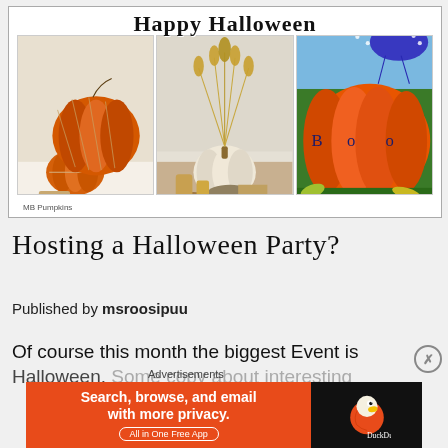[Figure (photo): Collage of three Halloween pumpkin decorations with 'Happy Halloween' text at top. Left: orange pumpkins with ribbon stripes on beige background. Center: wheat/dried floral arrangement in white pumpkin vase. Right: orange pumpkin with 'BOO' spelled in dark buttons on grass.]
MB Pumpkins
Hosting a Halloween Party?
Published by msroosipuu
Of course this month the biggest Event is Halloween. Some copy about interesting...
Advertisements
[Figure (screenshot): DuckDuckGo advertisement banner. Left orange section: 'Search, browse, and email with more privacy. All in One Free App'. Right black section: DuckDuckGo duck logo.]